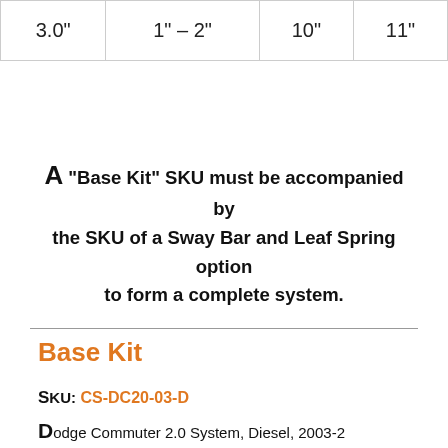| 3.0" | 1" – 2" | 10" | 11" |
A "Base Kit" SKU must be accompanied by the SKU of a Sway Bar and Leaf Spring option to form a complete system.
Base Kit
SKU: CS-DC20-03-D
Dodge Commuter 2.0 System, Diesel, 2003-2 Base Kit
Base Kit Includes: